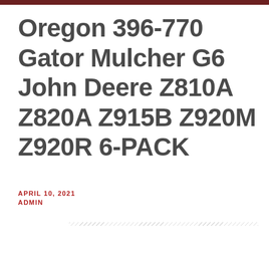Oregon 396-770 Gator Mulcher G6 John Deere Z810A Z820A Z915B Z920M Z920R 6-PACK
APRIL 10, 2021
ADMIN